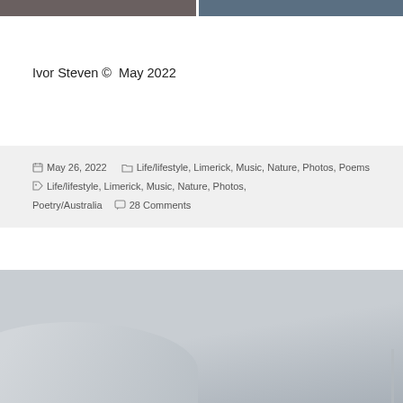[Figure (photo): Two cropped photo thumbnails at the top of the page, partially visible]
Ivor Steven ©  May 2022
May 26, 2022  Life/lifestyle, Limerick, Music, Nature, Photos, Poems  Life/lifestyle, Limerick, Music, Nature, Photos, Poetry/Australia  28 Comments
[Figure (photo): Partially visible light gray outdoor photo, appears to show a building or structure at the bottom]